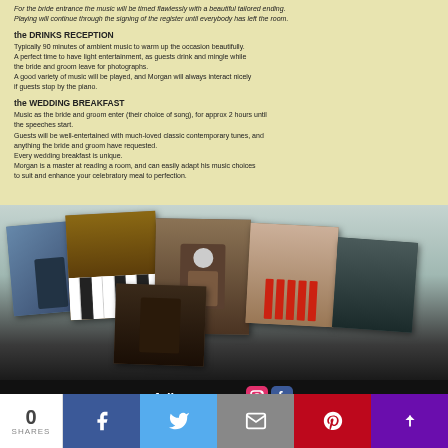For the bride entrance the music will be timed flawlessly with a beautiful tailored ending. Playing will continue through the signing of the register until everybody has left the room.
the DRINKS RECEPTION
Typically 90 minutes of ambient music to warm up the occasion beautifully. A perfect time to have light entertainment, as guests drink and mingle while the bride and groom leave for photographs. A good variety of music will be played, and Morgan will always interact nicely if guests stop by the piano.
the WEDDING BREAKFAST
Music as the bride and groom enter (their choice of song), for approx 2 hours until the speeches start. Guests will be well-entertained with much-loved classic contemporary tunes, and anything the bride and groom have requested. Every wedding breakfast is unique. Morgan is a master at reading a room, and can easily adapt his music choices to suit and enhance your celebratory meal to perfection.
[Figure (photo): Collage of 5 photos showing a pianist (Morgan) performing at various wedding venues]
follow me on:
tel: 07986 248095
morganweddingpianist.co.uk
0 SHARES [Facebook] [Twitter] [Email] [Pinterest] [Share]